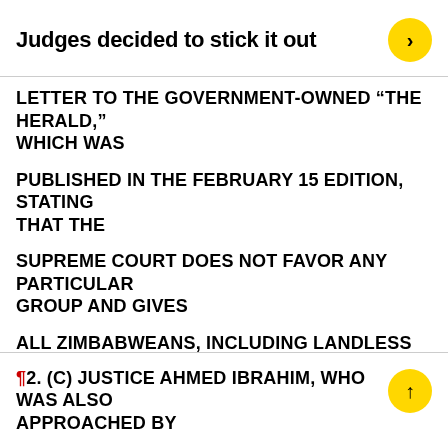Judges decided to stick it out
LETTER TO THE GOVERNMENT-OWNED “THE HERALD,” WHICH WAS

PUBLISHED IN THE FEBRUARY 15 EDITION, STATING THAT THE

SUPREME COURT DOES NOT FAVOR ANY PARTICULAR GROUP AND GIVES

ALL ZIMBABWEANS, INCLUDING LANDLESS PEASANTS, A FAIR

HEARING.
¶2. (C) JUSTICE AHMED IBRAHIM, WHO WAS ALSO APPROACHED BY